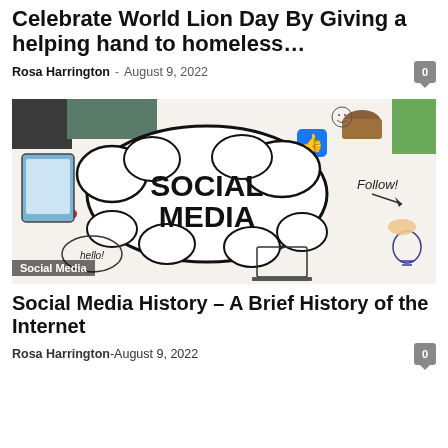Celebrate World Lion Day By Giving a helping hand to homeless…
Rosa Harrington - August 9, 2022
[Figure (photo): Social media concept photo with 'SOCIAL MEDIA' text in a speech bubble, surrounded by doodles of hands, phones, likes, and internet icons on a white background. Label: Social Media.]
Social Media History – A Brief History of the Internet
Rosa Harrington - August 9, 2022